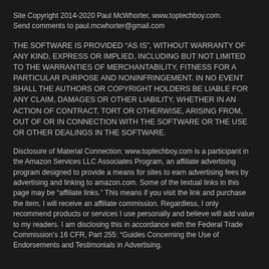Site Copyright 2014-2020 Paul McWhorter, www.toptechboy.com. Send comments to paul.mcwhorter@gmail.com
THE SOFTWARE IS PROVIDED “AS IS”, WITHOUT WARRANTY OF ANY KIND, EXPRESS OR IMPLIED, INCLUDING BUT NOT LIMITED TO THE WARRANTIES OF MERCHANTABILITY, FITNESS FOR A PARTICULAR PURPOSE AND NONINFRINGEMENT. IN NO EVENT SHALL THE AUTHORS OR COPYRIGHT HOLDERS BE LIABLE FOR ANY CLAIM, DAMAGES OR OTHER LIABILITY, WHETHER IN AN ACTION OF CONTRACT, TORT OR OTHERWISE, ARISING FROM, OUT OF OR IN CONNECTION WITH THE SOFTWARE OR THE USE OR OTHER DEALINGS IN THE SOFTWARE.
Disclosure of Material Connection: www.toptechboy.com is a participant in the Amazon Services LLC Associates Program, an affiliate advertising program designed to provide a means for sites to earn advertising fees by advertising and linking to amazon.com. Some of the textual links in this page may be “affiliate links.” This means if you visit the link and purchase the item, I will receive an affiliate commission. Regardless, I only recommend products or services I use personally and believe will add value to my readers. I am disclosing this in accordance with the Federal Trade Commission’s 16 CFR, Part 255: “Guides Concerning the Use of Endorsements and Testimonials in Advertising.